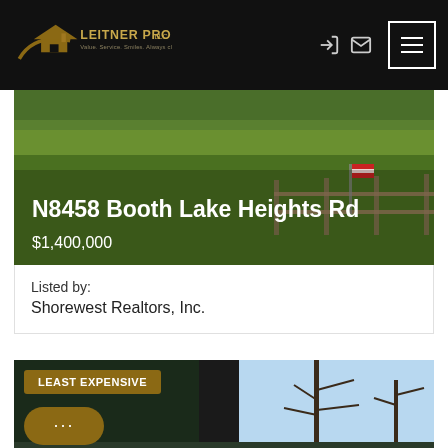[Figure (logo): Leitner Properties LLC logo with house/roof graphic. Tagline: Value. Service. Smiles. Always close to home.]
N8458 Booth Lake Heights Rd
$1,400,000
Listed by:
Shorewest Realtors, Inc.
[Figure (photo): Exterior photo of property with trees and sky. Badge reads LEAST EXPENSIVE. Chat bubble with ellipsis icon.]